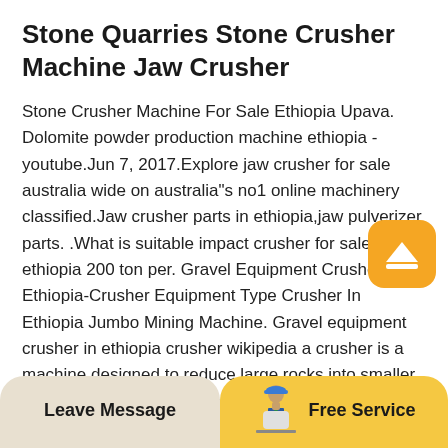Stone Quarries Stone Crusher Machine Jaw Crusher
Stone Crusher Machine For Sale Ethiopia Upava. Dolomite powder production machine ethiopia - youtube.Jun 7, 2017.Explore jaw crusher for sale australia wide on australia"s no1 online machinery classified.Jaw crusher parts in ethiopia,jaw pulverizer parts. .What is suitable impact crusher for sale in ethiopia 200 ton per. Gravel Equipment Crusher In Ethiopia-Crusher Equipment Type Crusher In Ethiopia Jumbo Mining Machine. Gravel equipment crusher in ethiopia crusher wikipedia a crusher is a machine designed to reduce large rocks into smaller rocks gravel or rock dust crushers may be used to reduce the size or change the form details crushing equipment
[Figure (illustration): Orange rounded square icon with a white upward-pointing chevron/caret symbol, positioned top-right of the text area as a scroll-to-top button]
Leave Message | Free Service